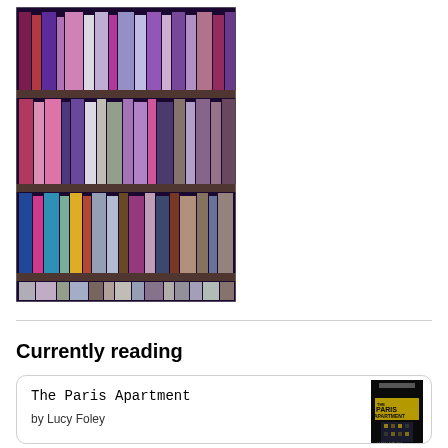[Figure (photo): A blurry photo of colorful books arranged on multiple shelves, seen from the front. Books of various colors including red, pink, blue, purple, white, and green fill the shelves.]
Currently reading
The Paris Apartment
by Lucy Foley
[Figure (photo): Book cover of 'The Paris Apartment' by Lucy Foley. Dark background with yellow title text and building silhouette.]